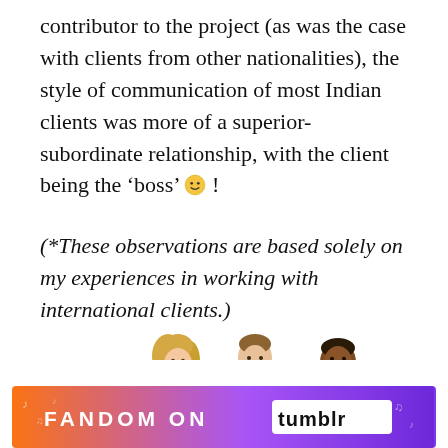contributor to the project (as was the case with clients from other nationalities), the style of communication of most Indian clients was more of a superior-subordinate relationship, with the client being the ‘boss’ 🙂 !
(*These observations are based solely on my experiences in working with international clients.)
[Figure (photo): Three young adults (a blonde woman in teal, a young man in red, and a man in yellow) looking at a laptop together, white background.]
Advertisements
[Figure (other): Fandom on Tumblr advertisement banner with colorful gradient background (orange to purple) and musical note decorations.]